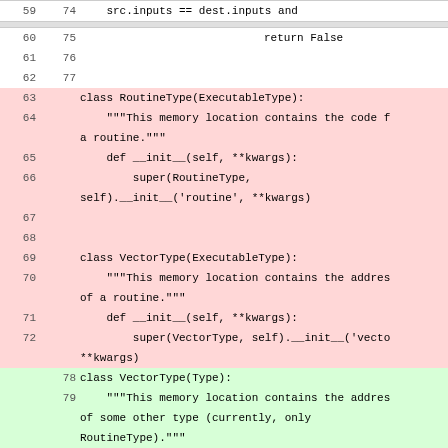[Figure (screenshot): Code diff view showing Python source code with line numbers in two columns (old and new), with red background for removed/old code and green background for added/new code. Shows class definitions for RoutineType and VectorType.]